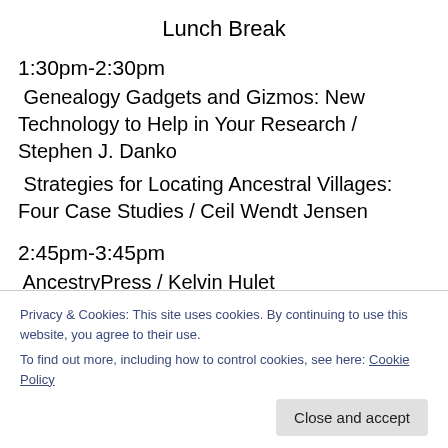Lunch Break
1:30pm-2:30pm
Genealogy Gadgets and Gizmos: New Technology to Help in Your Research / Stephen J. Danko
Strategies for Locating Ancestral Villages: Four Case Studies / Ceil Wendt Jensen
2:45pm-3:45pm
AncestryPress / Kelvin Hulet
Survey of North American and Polish Military Records / Ceil Wendt Jensen
4:00pm-5:00pm
Privacy & Cookies: This site uses cookies. By continuing to use this website, you agree to their use. To find out more, including how to control cookies, see here: Cookie Policy